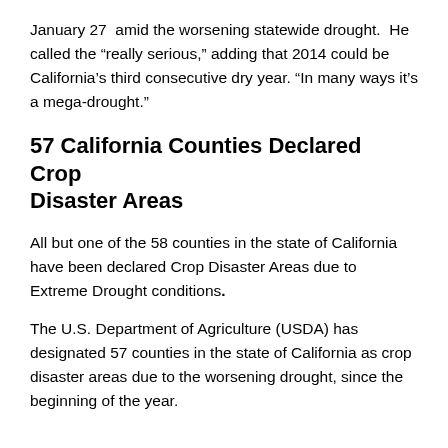January 27 amid the worsening statewide drought. He called the “really serious,” adding that 2014 could be California’s third consecutive dry year. “In many ways it’s a mega-drought.”
57 California Counties Declared Crop Disaster Areas
All but one of the 58 counties in the state of California have been declared Crop Disaster Areas due to Extreme Drought conditions.
The U.S. Department of Agriculture (USDA) has designated 57 counties in the state of California as crop disaster areas due to the worsening drought, since the beginning of the year.